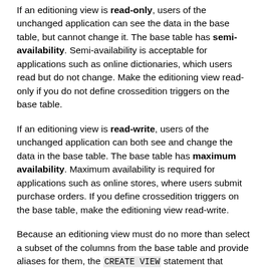If an editioning view is read-only, users of the unchanged application can see the data in the base table, but cannot change it. The base table has semi-availability. Semi-availability is acceptable for applications such as online dictionaries, which users read but do not change. Make the editioning view read-only if you do not define crossedition triggers on the base table.
If an editioning view is read-write, users of the unchanged application can both see and change the data in the base table. The base table has maximum availability. Maximum availability is required for applications such as online stores, where users submit purchase orders. If you define crossedition triggers on the base table, make the editioning view read-write.
Because an editioning view must do no more than select a subset of the columns from the base table and provide aliases for them, the CREATE VIEW statement that creates an editioning view has restrictions. Violating the restrictions causes the creation of the view to fail, even if you specify FORCE.